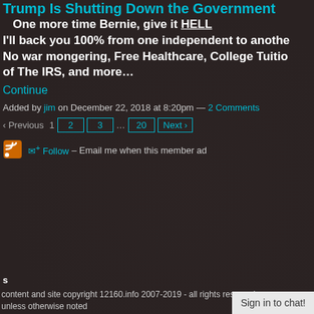Trump Is Shutting Down the Government
One more time Bernie, give it HELL
I'll back you 100% from one independent to another
No war mongering, Free Healthcare, College Tuition, rid of The IRS, and more…
Continue
Added by jim on December 22, 2018 at 8:20pm — 2 Comments
‹ Previous  1  2  3  ...  20  Next ›
Follow – Email me when this member adds content
s
content and site copyright 12160.info 2007-2019 - all rights reserved unless otherwise noted
Sign in to chat!